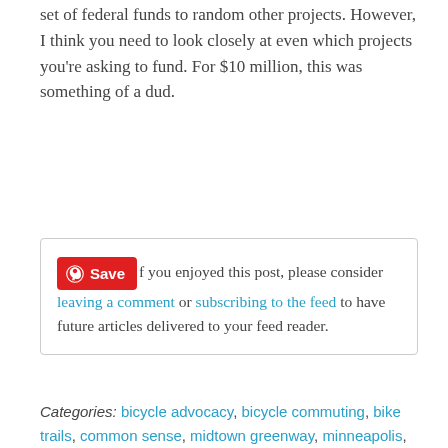set of federal funds to random other projects. However, I think you need to look closely at even which projects you're asking to fund. For $10 million, this was something of a dud.
If you enjoyed this post, please consider leaving a comment or subscribing to the feed to have future articles delivered to your feed reader.
Categories: bicycle advocacy, bicycle commuting, bike trails, common sense, midtown greenway, minneapolis, minnesota, road construction | Permalink
Author: julie